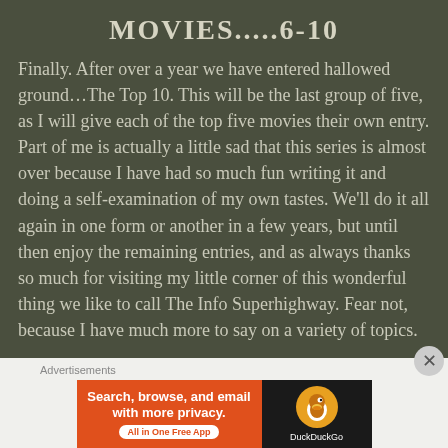MOVIES.....6-10
Finally. After over a year we have entered hallowed ground…The Top 10. This will be the last group of five, as I will give each of the top five movies their own entry. Part of me is actually a little sad that this series is almost over because I have had so much fun writing it and doing a self-examination of my own tastes. We'll do it all again in one form or another in a few years, but until then enjoy the remaining entries, and as always thanks so much for visiting my little corner of this wonderful thing we like to call The Info Superhighway. Fear not, because I have much more to say on a variety of topics.
[Figure (other): DuckDuckGo advertisement banner: orange left panel with text 'Search, browse, and email with more privacy. All in One Free App' and dark right panel with DuckDuckGo logo and duck icon.]